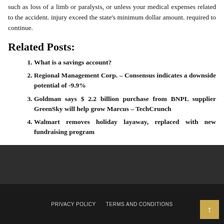such as loss of a limb or paralysis, or unless your medical expenses related to the accident. injury exceed the state's minimum dollar amount. required to continue.
Related Posts:
What is a savings account?
Regional Management Corp. – Consensus indicates a downside potential of -9.9%
Goldman says $ 2.2 billion purchase from BNPL supplier GreenSky will help grow Marcus – TechCrunch
Walmart removes holiday layaway, replaced with new fundraising program
PRIVACY POLICY   TERMS AND CONDITIONS